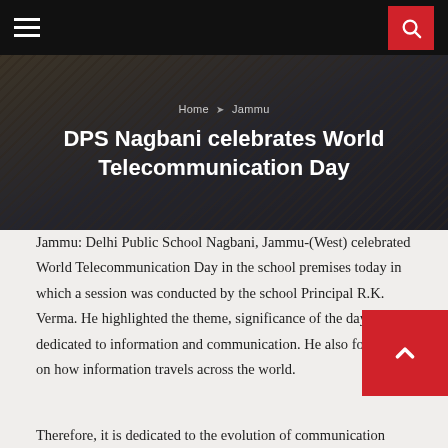DPS Nagbani celebrates World Telecommunication Day
Home ➤ Jammu
DPS Nagbani celebrates World Telecommunication Day
Jammu: Delhi Public School Nagbani, Jammu-(West) celebrated World Telecommunication Day in the school premises today in which a session was conducted by the school Principal R.K. Verma. He highlighted the theme, significance of the day dedicated to information and communication. He also focused on how information travels across the world.
Therefore, it is dedicated to the evolution of communication